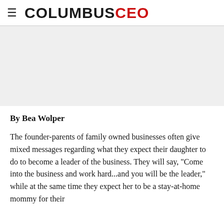COLUMBUSCEO
[Figure (other): Gray placeholder image area]
By Bea Wolper
The founder-parents of family owned businesses often give mixed messages regarding what they expect their daughter to do to become a leader of the business. They will say, "Come into the business and work hard...and you will be the leader," while at the same time they expect her to be a stay-at-home mommy for their